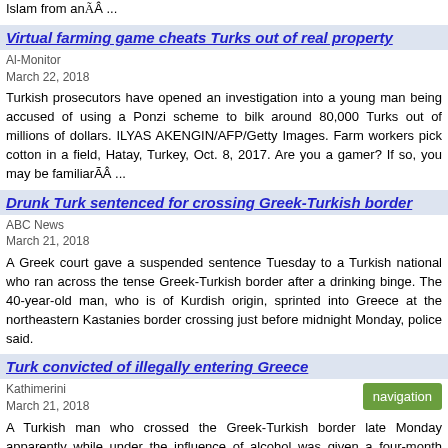Islam from an… ...
Virtual farming game cheats Turks out of real property
Al-Monitor
March 22, 2018
Turkish prosecutors have opened an investigation into a young man being accused of using a Ponzi scheme to bilk around 80,000 Turks out of millions of dollars. ILYAS AKENGIN/AFP/Getty Images. Farm workers pick cotton in a field, Hatay, Turkey, Oct. 8, 2017. Are you a gamer? If so, you may be familiarÃÂ ...
Drunk Turk sentenced for crossing Greek-Turkish border
ABC News
March 21, 2018
A Greek court gave a suspended sentence Tuesday to a Turkish national who ran across the tense Greek-Turkish border after a drinking binge. The 40-year-old man, who is of Kurdish origin, sprinted into Greece at the northeastern Kastanies border crossing just before midnight Monday, police said.
Turk convicted of illegally entering Greece
Kathimerini
March 21, 2018
A Turkish man who crossed the Greek-Turkish border late Monday apparently while under the influence of alcohol was given a four-month prison sentence on Tuesday after appearing in a court in